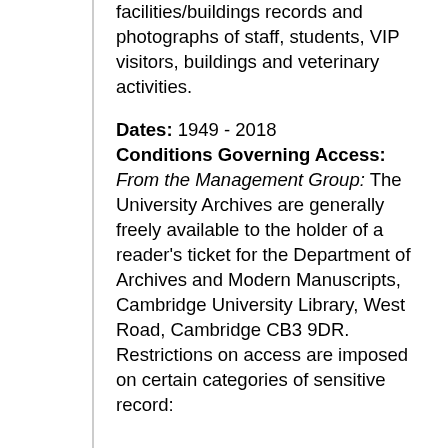facilities/buildings records and photographs of staff, students, VIP visitors, buildings and veterinary activities.
Dates: 1949 - 2018 Conditions Governing Access: From the Management Group: The University Archives are generally freely available to the holder of a reader's ticket for the Department of Archives and Modern Manuscripts, Cambridge University Library, West Road, Cambridge CB3 9DR. Restrictions on access are imposed on certain categories of sensitive record: